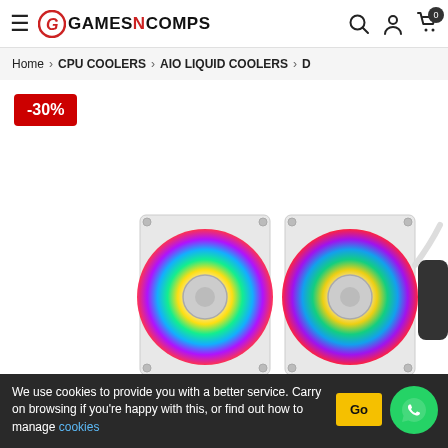GAMESNCOMPS — Navigation header with hamburger menu, logo, search, user, and cart icons
Home > CPU COOLERS > AIO LIQUID COOLERS > D
-30%
[Figure (photo): AIO liquid CPU cooler with two RGB fans in white/silver color, showing rainbow RGB lighting on fan blades, with pump head visible on the right]
We use cookies to provide you with a better service. Carry on browsing if you're happy with this, or find out how to manage cookies